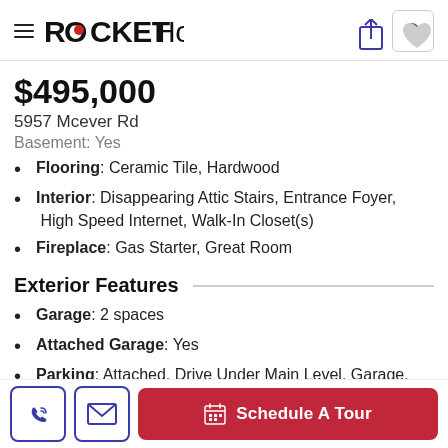ROCKET Homes
$495,000
5957 Mcever Rd
Basement: Yes
Flooring: Ceramic Tile, Hardwood
Interior: Disappearing Attic Stairs, Entrance Foyer, High Speed Internet, Walk-In Closet(s)
Fireplace: Gas Starter, Great Room
Exterior Features
Garage: 2 spaces
Attached Garage: Yes
Parking: Attached, Drive Under Main Level, Garage, Garage Door Opener, Garage Faces Side, Kitchen
Schedule A Tour